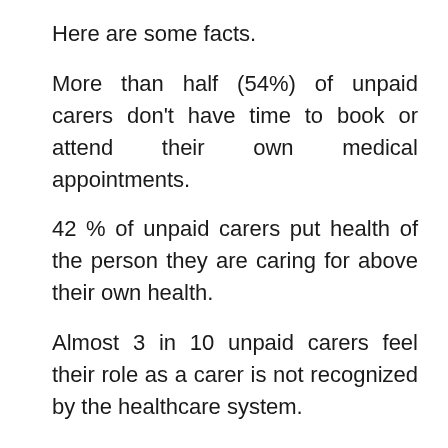Here are some facts.
More than half (54%) of unpaid carers don't have time to book or attend their own medical appointments.
42 % of unpaid carers put health of the person they are caring for above their own health.
Almost 3 in 10 unpaid carers feel their role as a carer is not recognized by the healthcare system.
While many understand that carers play a crucial role in lives of patients, what's less understood is the need for resources and